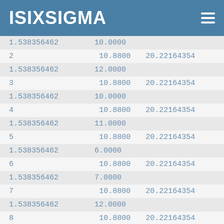ISIXSIGMA
| 1.538356462 |  | 10.0000 |
| 2 | 10.8800 | 20.22164354 |
| 1.538356462 |  | 12.0000 |
| 3 | 10.8800 | 20.22164354 |
| 1.538356462 |  | 10.0000 |
| 4 | 10.8800 | 20.22164354 |
| 1.538356462 |  | 11.0000 |
| 5 | 10.8800 | 20.22164354 |
| 1.538356462 |  | 6.0000 |
| 6 | 10.8800 | 20.22164354 |
| 1.538356462 |  | 7.0000 |
| 7 | 10.8800 | 20.22164354 |
| 1.538356462 |  | 12.0000 |
| 8 | 10.8800 | 20.22164354 |
| 1.538356462 |  | 10.0000 |
| 9 | 10.8800 | 20.22164354 |
| 1.538356462 |  | 6.0000 |